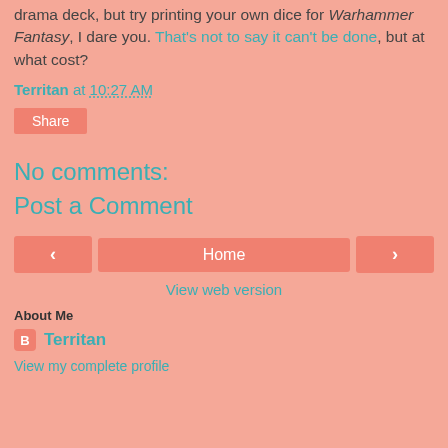drama deck, but try printing your own dice for Warhammer Fantasy, I dare you. That's not to say it can't be done, but at what cost?
Territan at 10:27 AM
Share
No comments:
Post a Comment
Home
View web version
About Me
Territan
View my complete profile